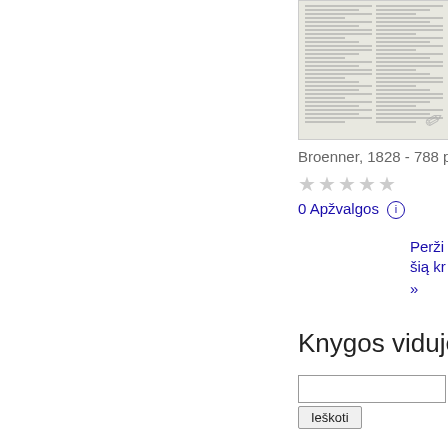[Figure (illustration): Thumbnail image of a book page showing dense two-column text content resembling a table of contents or index, with a pencil graphic overlaid at the bottom right corner]
Broenner, 1828 - 788 psl.
★★★★★
0 Apžvalgos ⓘ
Perži
šią kr
»
Knygos viduje
Ieškoti